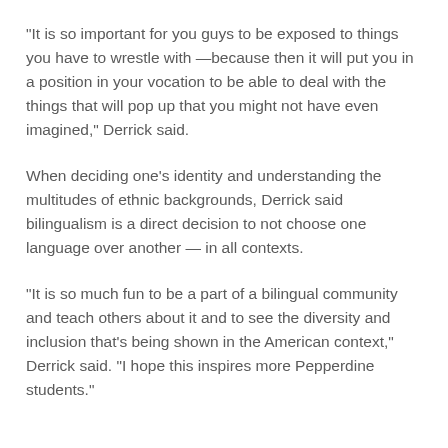"It is so important for you guys to be exposed to things you have to wrestle with —because then it will put you in a position in your vocation to be able to deal with the things that will pop up that you might not have even imagined," Derrick said.
When deciding one's identity and understanding the multitudes of ethnic backgrounds, Derrick said bilingualism is a direct decision to not choose one language over another — in all contexts.
"It is so much fun to be a part of a bilingual community and teach others about it and to see the diversity and inclusion that's being shown in the American context," Derrick said. "I hope this inspires more Pepperdine students."